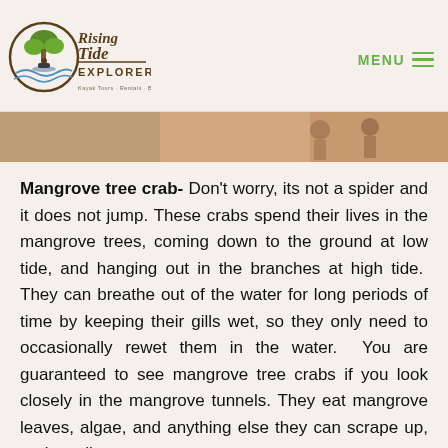Rising Tide Explorers — MENU
[Figure (photo): Partial photo strip showing people on a tour, visible at top of content area]
Mangrove tree crab- Don't worry, its not a spider and it does not jump. These crabs spend their lives in the mangrove trees, coming down to the ground at low tide, and hanging out in the branches at high tide.  They can breathe out of the water for long periods of time by keeping their gills wet, so they only need to occasionally rewet them in the water.  You are guaranteed to see mangrove tree crabs if you look closely in the mangrove tunnels. They eat mangrove leaves, algae, and anything else they can scrape up, and can live ten years.